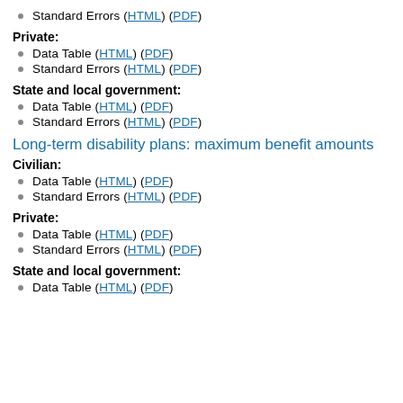Standard Errors (HTML) (PDF)
Private:
Data Table (HTML) (PDF)
Standard Errors (HTML) (PDF)
State and local government:
Data Table (HTML) (PDF)
Standard Errors (HTML) (PDF)
Long-term disability plans: maximum benefit amounts
Civilian:
Data Table (HTML) (PDF)
Standard Errors (HTML) (PDF)
Private:
Data Table (HTML) (PDF)
Standard Errors (HTML) (PDF)
State and local government:
Data Table (HTML) (PDF)